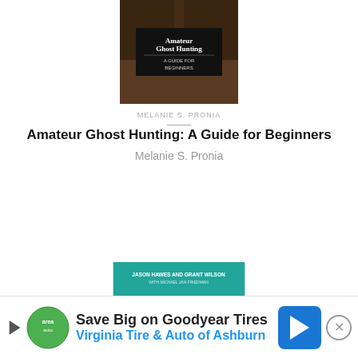[Figure (photo): Book cover of 'Amateur Ghost Hunting: A Guide for Beginners' — dark brown cover with a black panel showing the title text]
Amateur Ghost Hunting: A Guide for Beginners
Melanie S. Pronia
[Figure (photo): Book cover of 'Ghost Hunting: True Stories of Unexplained Phenomena from The Atlantic Paranormal Society' — teal/cyan colored cover with 'GHOST HUNTING' in large letters, authors Jason Hawes and Grant Wilson listed at top]
Ghost Hunting: True Stories of Unexplained Phenomena from The Atlantic Paranormal Society
[Figure (other): Advertisement banner: 'Save Big on Goodyear Tires — Virginia Tire & Auto of Ashburn' with green circular logo, blue navigation arrow icon, and close button]